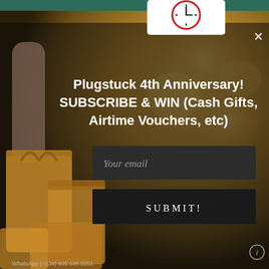[Figure (screenshot): A modal popup overlay on a webpage showing a shopping/retail background image with a person holding shopping bags in warm bokeh lighting. A clock graphic appears at the top center. The overlay contains a promotional subscription form.]
Plugstuck 4th Anniversary! SUBSCRIBE & WIN (Cash Gifts, Airtime Vouchers, etc)
Your email
SUBMIT!
WhatsApp (+234) 905 645 5551